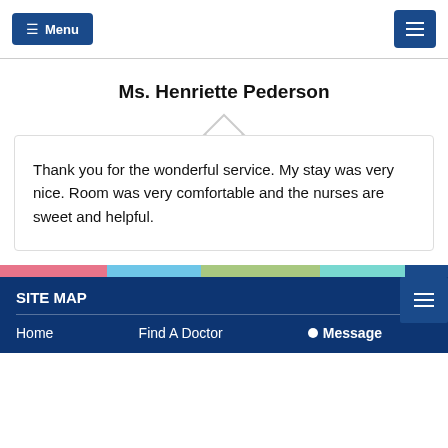≡ Menu | [hamburger icon]
Ms. Henriette Pederson
Thank you for the wonderful service. My stay was very nice. Room was very comfortable and the nurses are sweet and helpful.
SITE MAP
Home
Find A Doctor
● Message